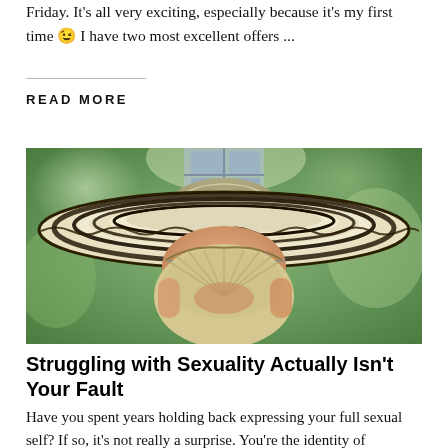Friday. It's all very exciting, especially because it's my first time 😉 I have two most excellent offers ...
Read More
[Figure (photo): Person wearing a large wide-brimmed sombrero hat with black and white pattern, holding the hat over their face, wearing reflective sunglasses, outdoors with green background]
Struggling with Sexuality Actually Isn't Your Fault
Have you spent years holding back expressing your full sexual self?  If so, it's not really a surprise. You're the identity of generations of social and cultural...